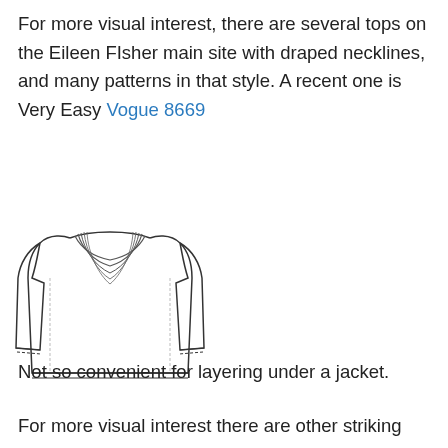For more visual interest, there are several tops on the Eileen FIsher main site with draped necklines, and many patterns in that style. A recent one is Very Easy Vogue 8669
[Figure (illustration): Line drawing / technical flat of a long-sleeve draped cowl-neck top (sewing pattern illustration), shown from the front.]
Not so convenient for layering under a jacket.
For more visual interest there are other striking Al...